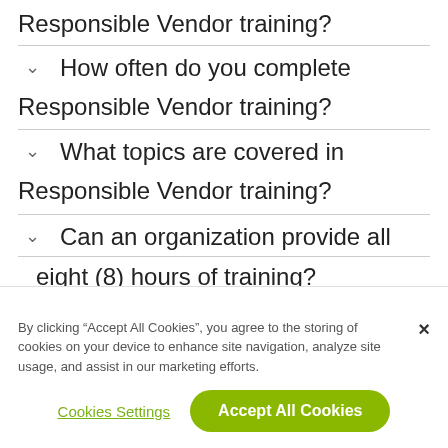Responsible Vendor training?
How often do you complete Responsible Vendor training?
What topics are covered in Responsible Vendor training?
Can an organization provide all eight (8) hours of training?
By clicking “Accept All Cookies”, you agree to the storing of cookies on your device to enhance site navigation, analyze site usage, and assist in our marketing efforts.
Cookies Settings
Accept All Cookies